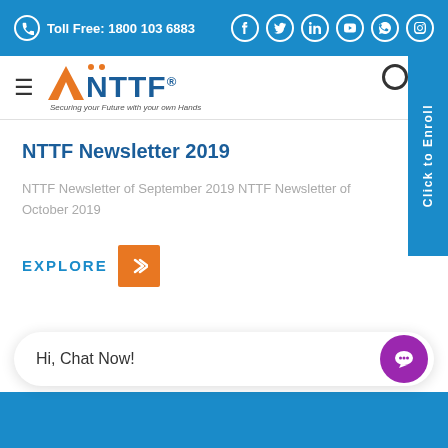Toll Free: 1800 103 6883
[Figure (logo): ANTTF logo with orange A, blue NTTF text, orange dots, and tagline 'Securing your Future with your own Hands']
NTTF Newsletter 2019
NTTF Newsletter of September 2019 NTTF Newsletter of October 2019
EXPLORE
Hi, Chat Now!